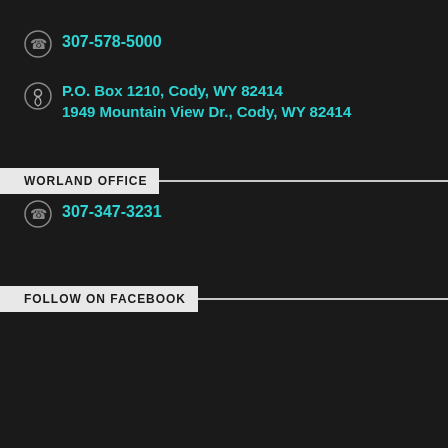307-578-5000
P.O. Box 1210, Cody, WY 82414
1949 Mountain View Dr., Cody, WY 82414
WORLAND OFFICE
307-347-3231
FOLLOW ON FACEBOOK